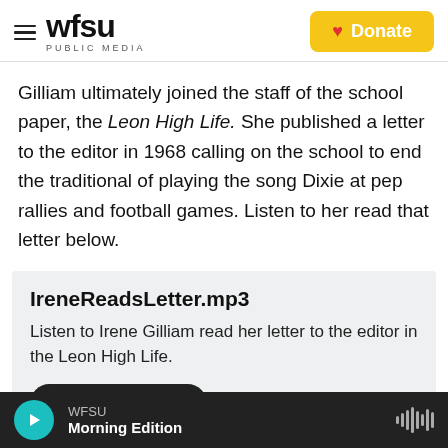wfsu PUBLIC MEDIA | Donate
Gilliam ultimately joined the staff of the school paper, the Leon High Life. She published a letter to the editor in 1968 calling on the school to end the traditional of playing the song Dixie at pep rallies and football games. Listen to her read that letter below.
IreneReadsLetter.mp3
Listen to Irene Gilliam read her letter to the editor in the Leon High Life.
LISTEN • 2:13
WFSU Morning Edition